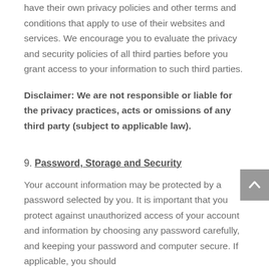have their own privacy policies and other terms and conditions that apply to use of their websites and services.  We encourage you to evaluate the privacy and security policies of all third parties before you grant access to your information to such third parties.
Disclaimer: We are not responsible or liable for the privacy practices, acts or omissions of any third party (subject to applicable law).
9. Password, Storage and Security
Your account information may be protected by a password selected by you. It is important that you protect against unauthorized access of your account and information by choosing any password carefully, and keeping your password and computer secure.  If applicable, you should